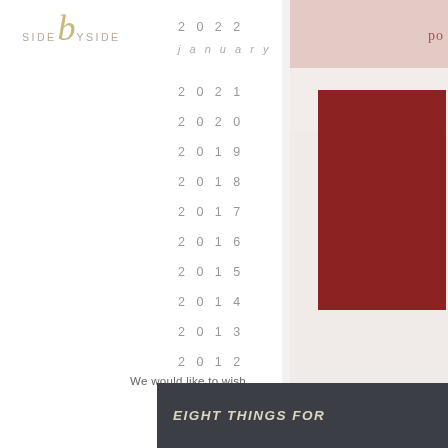SIDE by SIDE
2022
january
2021
2020
2019
2018
2017
2016
2015
2014
2013
2012
2011
[Figure (photo): Photo of dark red/burgundy stationery cards on a light background with pink accent color block]
po
We would like to wish
EIGHT THINGS FOR